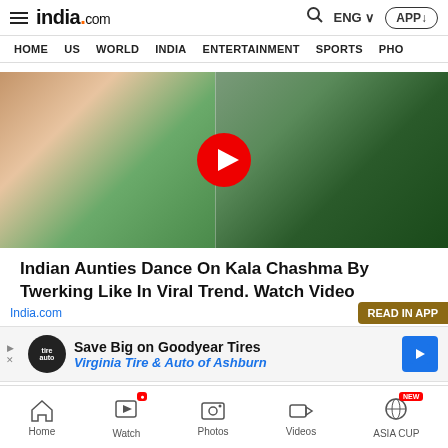india.com — HOME US WORLD INDIA ENTERTAINMENT SPORTS PHO
[Figure (screenshot): Video thumbnail showing Indian women dancing in colorful sarees with a red play button overlay in the center]
Indian Aunties Dance On Kala Chashma By Twerking Like In Viral Trend. Watch Video
India.com
READ IN APP
[Figure (infographic): Advertisement banner: Save Big on Goodyear Tires — Virginia Tire & Auto of Ashburn]
Home  Watch  Photos  Videos  ASIA CUP